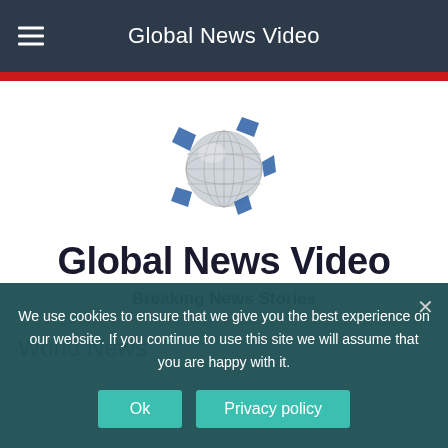Global News Video
[Figure (logo): Globe logo with blue angular shapes around a grey gridded sphere]
Global News Video
Breaking News Stories
World News
We use cookies to ensure that we give you the best experience on our website. If you continue to use this site we will assume that you are happy with it.
Ok   Privacy policy